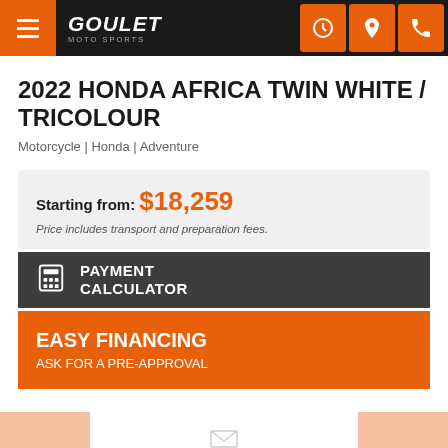Goulet Moto Sports header navigation
2022 HONDA AFRICA TWIN WHITE / TRICOLOUR
Motorcycle | Honda | Adventure
Starting from: $18,259
Price includes transport and preparation fees.
PAYMENT CALCULATOR
EASY FINANCING
ASK FOR A PRE-APPROVAL